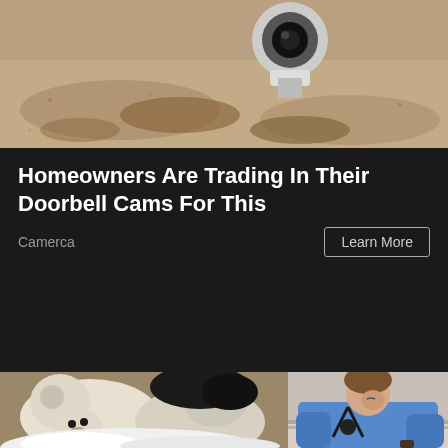[Figure (photo): Close-up photo of what appears to be a camera or doorbell device on a sandy/wooden surface background]
Homeowners Are Trading In Their Doorbell Cams For This
Camerca
Learn More
[Figure (photo): Two fluffy golden/white puppies and a dark colored animal eating or licking white foam/snow]
[Figure (photo): A male doctor or medical professional in a blue shirt with a stethoscope around his neck, looking down]